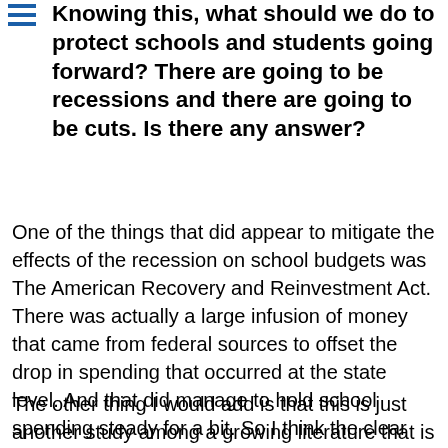Knowing this, what should we do to protect schools and students going forward? There are going to be recessions and there are going to be cuts. Is there any answer?
One of the things that did appear to mitigate the effects of the recession on school budgets was The American Recovery and Reinvestment Act. There was actually a large infusion of money that came from federal sources to offset the drop in spending that occurred at the state level. And that did manage to hold school spending steady for a bit. So I think the clear policy directive is that throwing in some sort of temporary money in to keep public school budgets from dropping is one way to offset these ill effects.
The other thing I would add is that this is just another study among a growing literature that is showing that school spending does matter. Either increases or